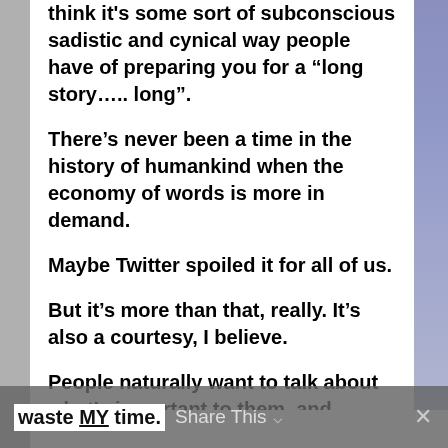think it’s some sort of subconscious sadistic and cynical way people have of preparing you for a “long story….. long”.
There’s never been a time in the history of humankind when the economy of words is more in demand.
Maybe Twitter spoiled it for all of us.
But it’s more than that, really. It’s also a courtesy, I believe.
People naturally want to talk about what’s important to them, and expect you to listen. So when you keep YOUR schpiel short... you’re actually thinking of them...being considerate of their time. Talking just to hear yourself talk is a selfish and wasteful way to waste MY time.
waste MY time.   Share This  ✕